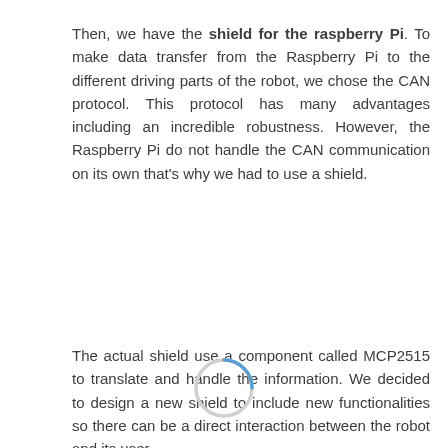Then, we have the shield for the raspberry Pi. To make data transfer from the Raspberry Pi to the different driving parts of the robot, we chose the CAN protocol. This protocol has many advantages including an incredible robustness. However, the Raspberry Pi do not handle the CAN communication on its own that's why we had to use a shield.
The actual shield use a component called MCP2515 to translate and handle the information. We decided to design a new shield to include new functionalities so there can be a direct interaction between the robot and its user.
[Figure (other): A circular loading spinner graphic with a blue arc at the top on a light gray circle outline.]